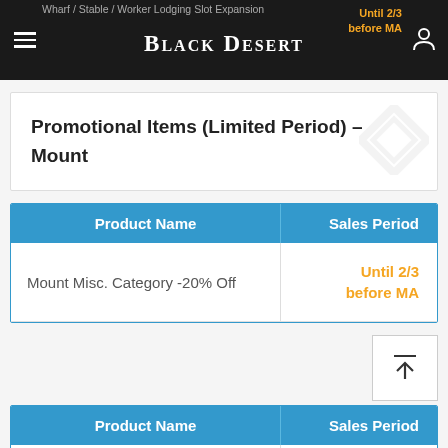Black Desert — Wharf / Stable / Worker Lodging Slot Expansion — Until 2/3 before MA
Promotional Items (Limited Period) – Mount
| Product Name | Sales Period |
| --- | --- |
| Mount Misc. Category -20% Off | Until 2/3 before MA |
| Product Name | Sales Period |
| --- | --- |